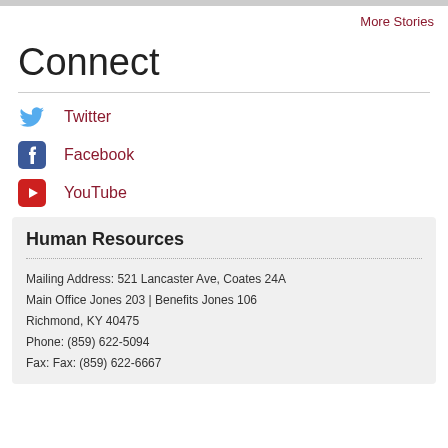More Stories
Connect
Twitter
Facebook
YouTube
Human Resources
Mailing Address: 521 Lancaster Ave, Coates 24A
Main Office Jones 203 | Benefits Jones 106
Richmond, KY 40475
Phone: (859) 622-5094
Fax: Fax: (859) 622-6667